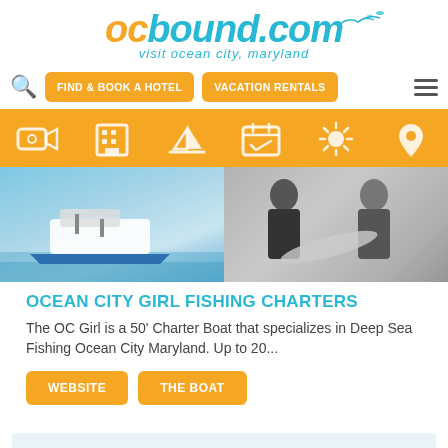[Figure (logo): ocbound.com logo with tagline 'visit ocean city, maryland']
[Figure (screenshot): Navigation bar with search icon, 'FIND & BOOK A HOTEL' button, 'VACATION RENTALS' button, and hamburger menu]
[Figure (screenshot): Category icon bar with 6 icons on orange/yellow background: camera/video, hotel/building, sailboat, calendar, sun, location pin]
[Figure (photo): Two photos side by side: left shows a boat on water, right shows people holding a large fish]
OCEAN CITY GIRL FISHING CHARTERS
The OC Girl is a 50' Charter Boat that specializes in Deep Sea Fishing Ocean City Maryland. Up to 20...
[Figure (screenshot): Two buttons: WEBSITE and THE BOAT, both in orange/yellow]